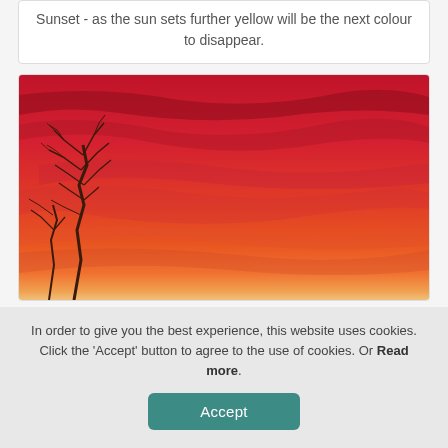Sunset - as the sun sets further yellow will be the next colour to disappear.
[Figure (photo): A vibrant sunset photo showing a deep red and orange sky with wispy clouds. Bare tree branches are silhouetted in the lower left corner. The sky transitions from deep crimson at the top to warm orange and pale yellow near the horizon.]
In order to give you the best experience, this website uses cookies. Click the 'Accept' button to agree to the use of cookies. Or Read more.